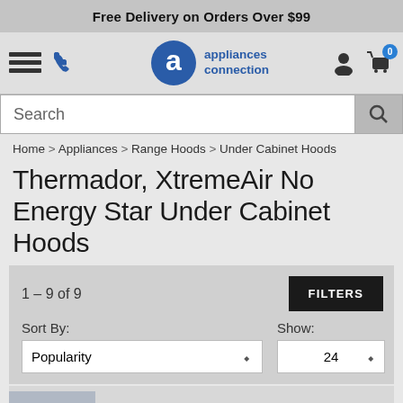Free Delivery on Orders Over $99
[Figure (logo): Appliances Connection logo with stylized 'a' in a circle and text 'appliances connection']
Search
Home > Appliances > Range Hoods > Under Cabinet Hoods
Thermador, XtremeAir No Energy Star Under Cabinet Hoods
1 – 9 of 9
FILTERS
Sort By: Popularity
Show: 24
XtremeAir UI10U30